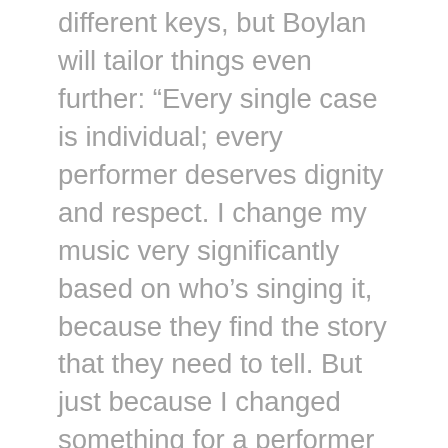different keys, but Boylan will tailor things even further: “Every single case is individual; every performer deserves dignity and respect. I change my music very significantly based on who’s singing it, because they find the story that they need to tell. But just because I changed something for a performer doesn’t mean I change the way I sing it. There are multiple versions of my songs in perpetuity.” They see this practice as normal in the musical theater world, citing the myriad versions of old (and new) standards that all coexist without issue.
Allies Weigh In